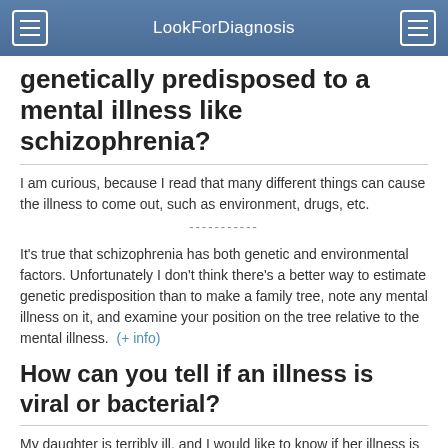LookForDiagnosis
genetically predisposed to a mental illness like schizophrenia?
I am curious, because I read that many different things can cause the illness to come out, such as environment, drugs, etc.
-----------
It's true that schizophrenia has both genetic and environmental factors. Unfortunately I don't think there's a better way to estimate genetic predisposition than to make a family tree, note any mental illness on it, and examine your position on the tree relative to the mental illness.  (+ info)
How can you tell if an illness is viral or bacterial?
My daughter is terribly ill, and I would like to know if her illness is viral or bacterial.